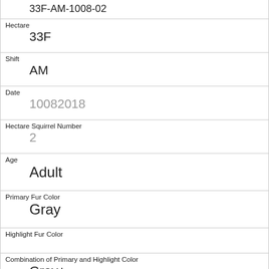33F-AM-1008-02
| Hectare | 33F |
| Shift | AM |
| Date | 10082018 |
| Hectare Squirrel Number | 2 |
| Age | Adult |
| Primary Fur Color | Gray |
| Highlight Fur Color |  |
| Combination of Primary and Highlight Color | Gray+ |
| Color notes |  |
| Location | Ground Plane |